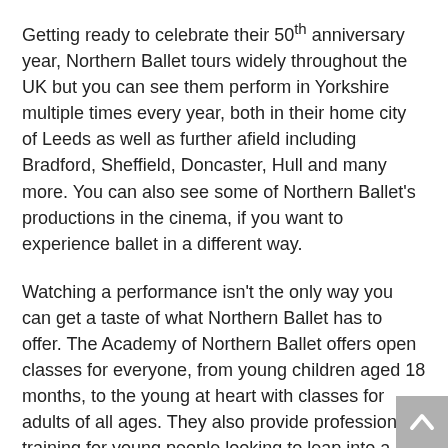Getting ready to celebrate their 50th anniversary year, Northern Ballet tours widely throughout the UK but you can see them perform in Yorkshire multiple times every year, both in their home city of Leeds as well as further afield including Bradford, Sheffield, Doncaster, Hull and many more. You can also see some of Northern Ballet's productions in the cinema, if you want to experience ballet in a different way.
Watching a performance isn't the only way you can get a taste of what Northern Ballet has to offer. The Academy of Northern Ballet offers open classes for everyone, from young children aged 18 months, to the young at heart with classes for adults of all ages. They also provide professional training for young people looking to leap into a career in dance.
Plus, Northern Ballet even has its own intimate 230-seat theatre. The Stanley & Audrey Burton Theatre